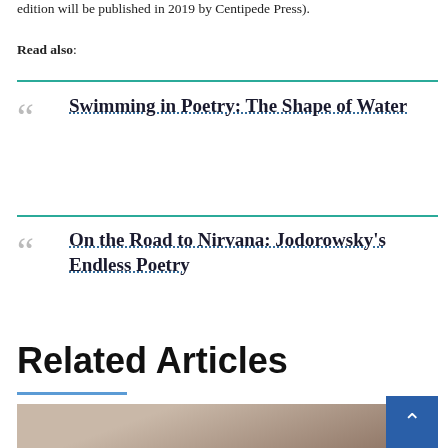edition will be published in 2019 by Centipede Press).
Read also:
Swimming in Poetry: The Shape of Water
On the Road to Nirvana: Jodorowsky's Endless Poetry
Related Articles
[Figure (photo): Photo of a person, partially visible at bottom of page]